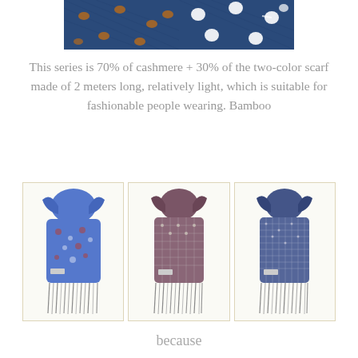[Figure (photo): Two decorative scarves laid flat showing fabric patterns — left one is dark blue with brown/orange diamond dots, right one is dark blue with white polka dots]
This series is 70% of cashmere + 30% of the two-color scarf made of 2 meters long, relatively light, which is suitable for fashionable people wearing. Bamboo
[Figure (photo): Three decorative scarves displayed side by side in framed boxes: left one is blue with small floral/paisley pattern and fringe, middle one is dark with small geometric grid pattern and fringe, right one is dark blue with small square geometric pattern and fringe]
because